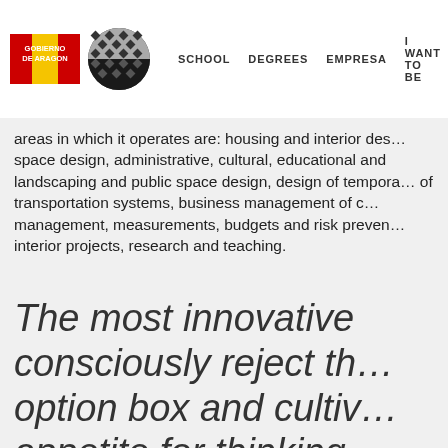GOBIERNO DE ARAGON | SCHOOL | DEGREES | EMPRESA | I WANT TO BE
areas in which it operates are: housing and interior design, space design, administrative, cultural, educational and landscaping and public space design, design of transportation systems, business management of management, measurements, budgets and risk prevention, interior projects, research and teaching.
The most innovative consciously reject the option box and cultivate appetite for thinking